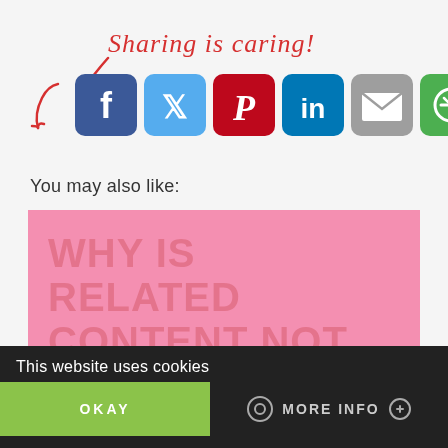[Figure (infographic): Sharing is caring! banner with social media share buttons: Facebook (blue), Twitter (light blue), Pinterest (red), LinkedIn (dark blue), Email (grey), Shareaholic (green). Red handwritten text and arrow pointing to icons.]
You may also like:
[Figure (other): Pink placeholder image with text 'WHY IS RELATED CONTENT NOT SHOWING UP?' in large bold letters]
Why is Related Content not showing up?
⚡ by shareaholic
This website uses cookies | OKAY | MORE INFO